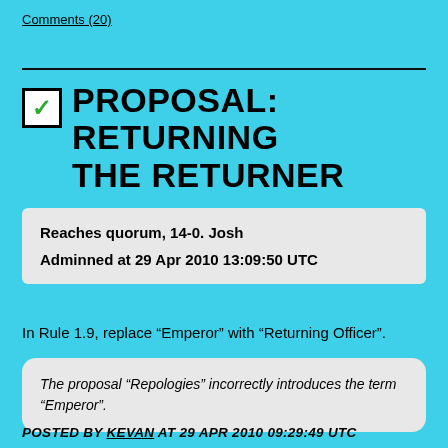Comments (20)
PROPOSAL: RETURNING THE RETURNER
Reaches quorum, 14-0. Josh
Adminned at 29 Apr 2010 13:09:50 UTC
In Rule 1.9, replace “Emperor” with “Returning Officer”.
The proposal “Repologies” incorrectly introduces the term “Emperor”.
POSTED BY KEVAN AT 29 APR 2010 09:29:49 UTC